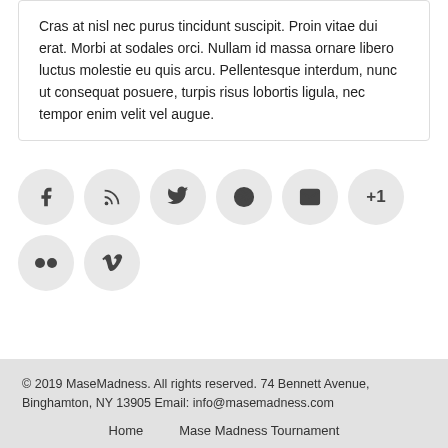Cras at nisl nec purus tincidunt suscipit. Proin vitae dui erat. Morbi at sodales orci. Nullam id massa ornare libero luctus molestie eu quis arcu. Pellentesque interdum, nunc ut consequat posuere, turpis risus lobortis ligula, nec tempor enim velit vel augue.
[Figure (infographic): Row of social media icon circles: Facebook, RSS, Twitter, Dribbble, Email, +1, then second row: Flickr, Vimeo]
© 2019 MaseMadness. All rights reserved. 74 Bennett Avenue, Binghamton, NY 13905 Email: info@masemadness.com
Home
Mase Madness Tournament